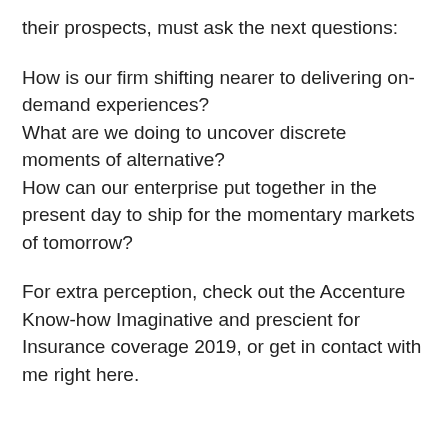their prospects, must ask the next questions:
How is our firm shifting nearer to delivering on-demand experiences?
What are we doing to uncover discrete moments of alternative?
How can our enterprise put together in the present day to ship for the momentary markets of tomorrow?
For extra perception, check out the Accenture Know-how Imaginative and prescient for Insurance coverage 2019, or get in contact with me right here.